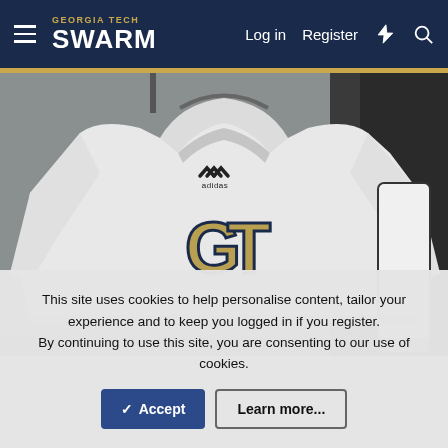Georgia Tech SWARM — Log in  Register
[Figure (photo): A white Georgia Tech adidas hoodie sweatshirt hanging on a rack, displaying the GT interlocking logo in gold and navy, with 'GEORGIA TE...' text visible on the sleeve]
This site uses cookies to help personalise content, tailor your experience and to keep you logged in if you register.
By continuing to use this site, you are consenting to our use of cookies.
✓ Accept  Learn more...